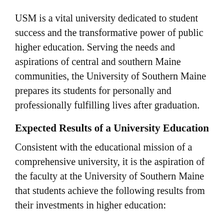USM is a vital university dedicated to student success and the transformative power of public higher education. Serving the needs and aspirations of central and southern Maine communities, the University of Southern Maine prepares its students for personally and professionally fulfilling lives after graduation.
Expected Results of a University Education
Consistent with the educational mission of a comprehensive university, it is the aspiration of the faculty at the University of Southern Maine that students achieve the following results from their investments in higher education:
They should possess the knowledge and skills necessary to enter the work force or be